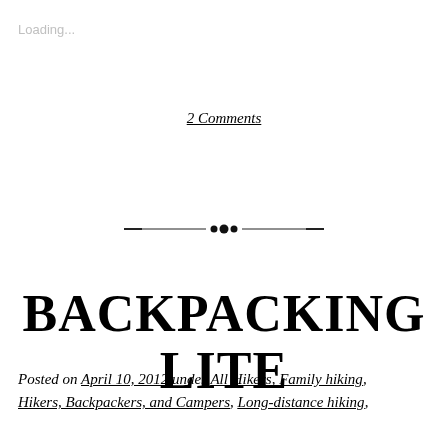Loading...
2 Comments
[Figure (illustration): Decorative horizontal divider with dots/bullets in the center and tapered lines extending to each side]
BACKPACKING LITE
Posted on April 10, 2012 under All Hikers, Family hiking, Hikers, Backpackers, and Campers, Long-distance hiking,